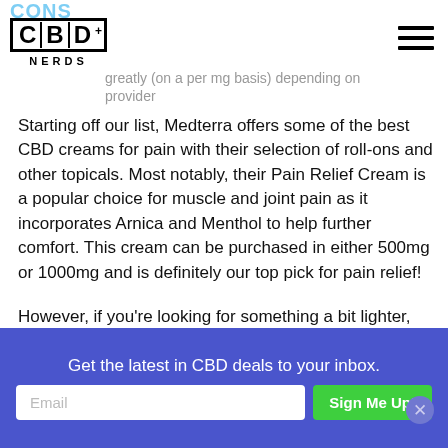[Figure (logo): CBDnerds logo with CBD in bordered box and plus sign, NERDS text below]
Starting off our list, Medterra offers some of the best CBD creams for pain with their selection of roll-ons and other topicals. Most notably, their Pain Relief Cream is a popular choice for muscle and joint pain as it incorporates Arnica and Menthol to help further comfort. This cream can be purchased in either 500mg or 1000mg and is definitely our top pick for pain relief!
However, if you're looking for something a bit lighter, you can also opt Medterra's Rapid Recovery Cream. This is made using a nearly identical formula to the Pain Relief Cream, but can also be purchased in 250mg and 750mg. Not to mention,
Get the latest in CBD deals to your inbox.